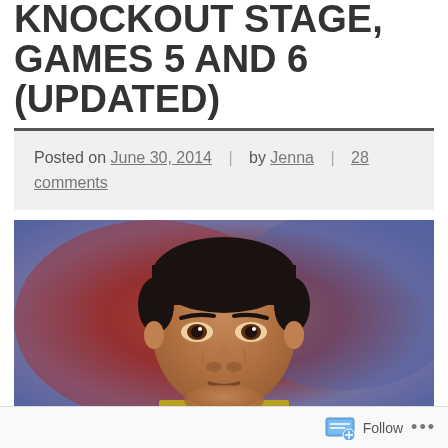KNOCKOUT STAGE, GAMES 5 AND 6 (UPDATED)
Posted on June 30, 2014 | by Jenna | 28 comments
[Figure (photo): Close-up photo of a soccer referee or player in a yellow/black shirt looking intensely at camera, with a blurred red and blue background]
Follow